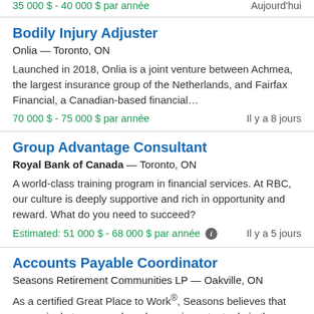35 000 $ - 40 000 $ par année
Aujourd'hui
Bodily Injury Adjuster
Onlia — Toronto, ON
Launched in 2018, Onlia is a joint venture between Achmea, the largest insurance group of the Netherlands, and Fairfax Financial, a Canadian-based financial…
70 000 $ - 75 000 $ par année
Il y a 8 jours
Group Advantage Consultant
Royal Bank of Canada — Toronto, ON
A world-class training program in financial services. At RBC, our culture is deeply supportive and rich in opportunity and reward. What do you need to succeed?
Estimated: 51 000 $ - 68 000 $ par année
Il y a 5 jours
Accounts Payable Coordinator
Seasons Retirement Communities LP — Oakville, ON
As a certified Great Place to Work®, Seasons believes that every single team member plays an important role in the overall business performance at…